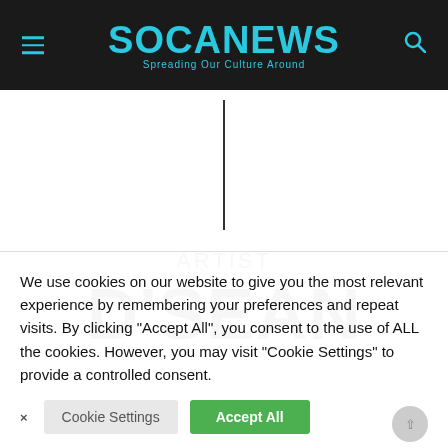SOCANEWS — Spreading Our Culture Around
[Figure (other): Vertical divider line]
ARTIST
D'SEAN
We use cookies on our website to give you the most relevant experience by remembering your preferences and repeat visits. By clicking "Accept All", you consent to the use of ALL the cookies. However, you may visit "Cookie Settings" to provide a controlled consent.